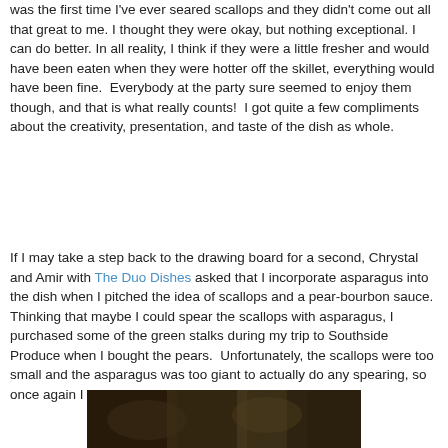was the first time I've ever seared scallops and they didn't come out all that great to me. I thought they were okay, but nothing exceptional. I can do better. In all reality, I think if they were a little fresher and would have been eaten when they were hotter off the skillet, everything would have been fine.  Everybody at the party sure seemed to enjoy them though, and that is what really counts!  I got quite a few compliments about the creativity, presentation, and taste of the dish as whole.
If I may take a step back to the drawing board for a second, Chrystal and Amir with The Duo Dishes asked that I incorporate asparagus into the dish when I pitched the idea of scallops and a pear-bourbon sauce.  Thinking that maybe I could spear the scallops with asparagus, I purchased some of the green stalks during my trip to Southside Produce when I bought the pears.  Unfortunately, the scallops were too small and the asparagus was too giant to actually do any spearing, so once again I was forced to improvise.
[Figure (photo): Partial view of a dark food photograph at the bottom of the page]